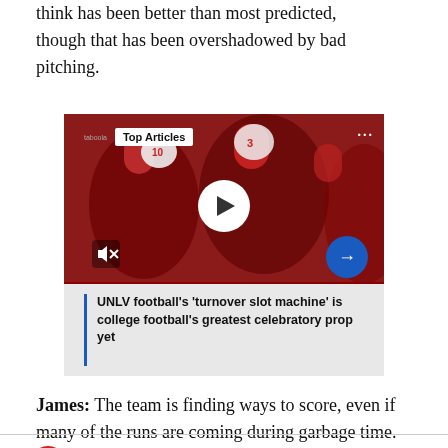think has been better than most predicted, though that has been overshadowed by bad pitching.
[Figure (screenshot): Video player thumbnail showing football players in red uniforms. Has 'Top Articles' label, play button, mute button, arrow button, and article title card at bottom reading: UNLV football's 'turnover slot machine' is college football's greatest celebratory prop yet]
James: The team is finding ways to score, even if many of the runs are coming during garbage time.
Social share icons: Twitter and Facebook